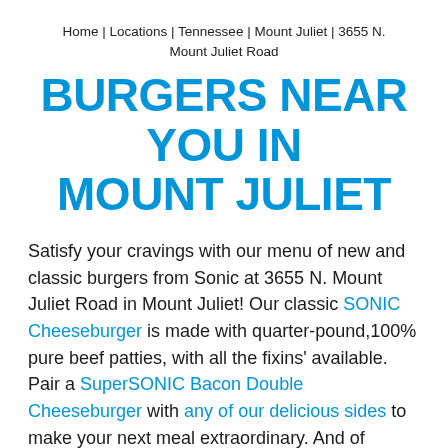Home | Locations | Tennessee | Mount Juliet | 3655 N. Mount Juliet Road
BURGERS NEAR YOU IN MOUNT JULIET
Satisfy your cravings with our menu of new and classic burgers from Sonic at 3655 N. Mount Juliet Road in Mount Juliet! Our classic SONIC Cheeseburger is made with quarter-pound,100% pure beef patties, with all the fixins' available. Pair a SuperSONIC Bacon Double Cheeseburger with any of our delicious sides to make your next meal extraordinary. And of course, you can't have a burger without a shake. Our classic shakes and Sonic Blasts are the perfect way to take lunch or dinner